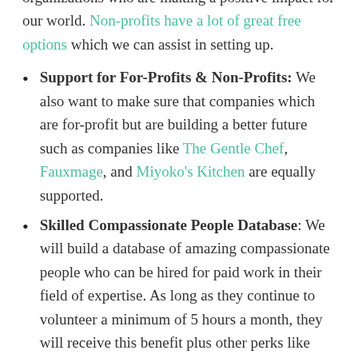organizations who are making a positive impact for our world. Non-profits have a lot of great free options which we can assist in setting up.
Support for For-Profits & Non-Profits: We also want to make sure that companies which are for-profit but are building a better future such as companies like The Gentle Chef, Fauxmage, and Miyoko's Kitchen are equally supported.
Skilled Compassionate People Database: We will build a database of amazing compassionate people who can be hired for paid work in their field of expertise. As long as they continue to volunteer a minimum of 5 hours a month, they will receive this benefit plus other perks like knowing that they are changing the world and free tech software.
Business planning and mentorship: We really will work hard to help our Loving Co-Op organizations